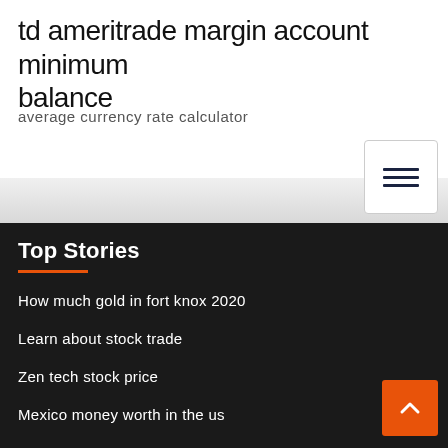td ameritrade margin account minimum balance
average currency rate calculator
[Figure (other): Hamburger menu button with three horizontal lines, white box with border]
Top Stories
How much gold in fort knox 2020
Learn about stock trade
Zen tech stock price
Mexico money worth in the us